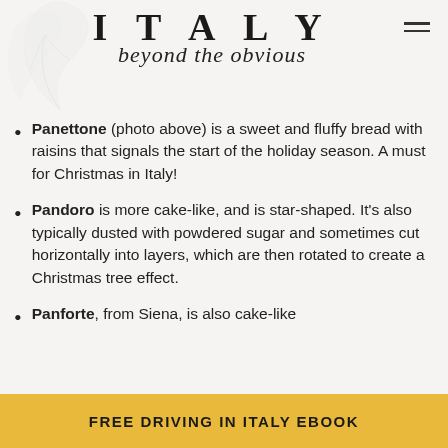ITALY beyond the obvious
Panettone (photo above) is a sweet and fluffy bread with raisins that signals the start of the holiday season. A must for Christmas in Italy!
Pandoro is more cake-like, and is star-shaped. It's also typically dusted with powdered sugar and sometimes cut horizontally into layers, which are then rotated to create a Christmas tree effect.
Panforte, from Siena, is also cake-like
FREE DRIVING IN ITALY EBOOK